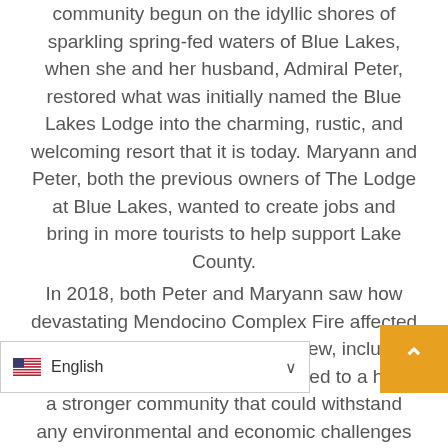community begun on the idyllic shores of sparkling spring-fed waters of Blue Lakes, when she and her husband, Admiral Peter, restored what was initially named the Blue Lakes Lodge into the charming, rustic, and welcoming resort that it is today. Maryann and Peter, both the previous owners of The Lodge at Blue Lakes, wanted to create jobs and bring in more tourists to help support Lake County.
In 2018, both Peter and Maryann saw how devastating Mendocino Complex Fire affected the livelihood of everyone she knew, including her valued workforce. They aspired to a have a stronger community that could withstand any environmental and economic challenges that would come their way. They knew that this could only happen if everyone in the community would nd together to help Lake ounty